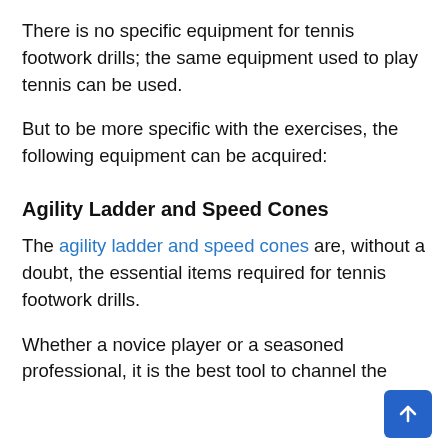There is no specific equipment for tennis footwork drills; the same equipment used to play tennis can be used.
But to be more specific with the exercises, the following equipment can be acquired:
Agility Ladder and Speed Cones
The agility ladder and speed cones are, without a doubt, the essential items required for tennis footwork drills.
Whether a novice player or a seasoned professional, it is the best tool to channel the